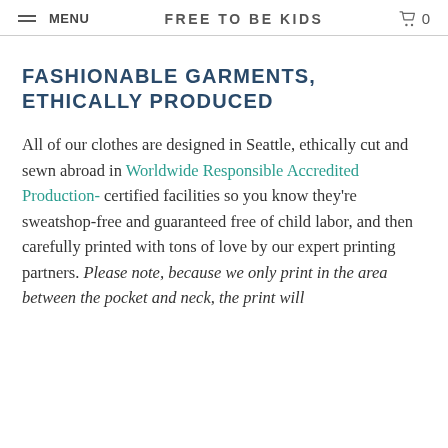MENU  FREE TO BE KIDS  🛒 0
FASHIONABLE GARMENTS, ETHICALLY PRODUCED
All of our clothes are designed in Seattle, ethically cut and sewn abroad in Worldwide Responsible Accredited Production- certified facilities so you know they're sweatshop-free and guaranteed free of child labor, and then carefully printed with tons of love by our expert printing partners. Please note, because we only print in the area between the pocket and neck, the print will